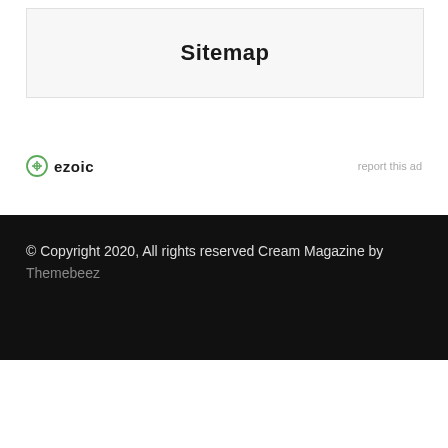Sitemap
[Figure (logo): Ezoic logo with green circular icon and bold text 'ezoic']
report this ad
© Copyright 2020, All rights reserved Cream Magazine by Themebeez